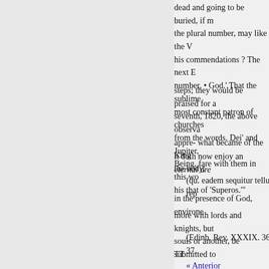dead and going to be buried, if m the plural number, may like the V his commendations ? The next E number, • God.' That the sublime most constant patron of churches from the words. Dei' and Jupiter, Being, fare with them in this wo his that of 'Superos.'"
steps; they would be praised for a seventh, 1820, the above observa appre- what became of the King's the body,
it doth now enjoy an eternal dre
(qu. eadem sequitur tellure rep
in the presence of God, environe
more with lords and knights, but souls or another, be submitted to
(Edinb. Rev. XXXIX. 36, 37,
TT
« Anterior